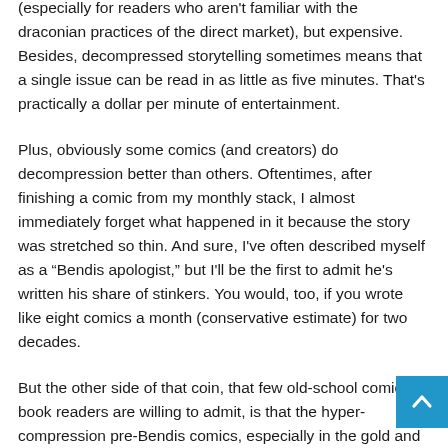(especially for readers who aren't familiar with the draconian practices of the direct market), but expensive. Besides, decompressed storytelling sometimes means that a single issue can be read in as little as five minutes. That's practically a dollar per minute of entertainment.
Plus, obviously some comics (and creators) do decompression better than others. Oftentimes, after finishing a comic from my monthly stack, I almost immediately forget what happened in it because the story was stretched so thin. And sure, I've often described myself as a “Bendis apologist,” but I'll be the first to admit he's written his share of stinkers. You would, too, if you wrote like eight comics a month (conservative estimate) for two decades.
But the other side of that coin, that few old-school comic book readers are willing to admit, is that the hyper-compression pre-Bendis comics, especially in the gold and silver ages, h